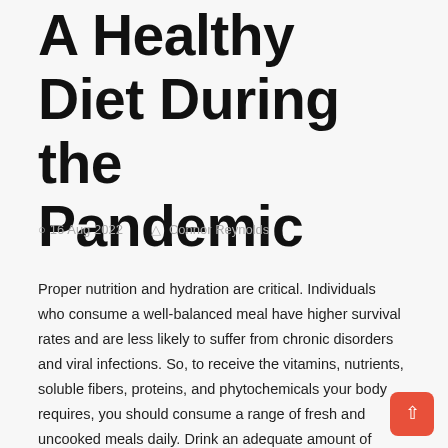A Healthy Diet During the Pandemic
16 Aug 2022   Connor Reynolds
Proper nutrition and hydration are critical. Individuals who consume a well-balanced meal have higher survival rates and are less likely to suffer from chronic disorders and viral infections. So, to receive the vitamins, nutrients, soluble fibers, proteins, and phytochemicals your body requires, you should consume a range of fresh and uncooked meals daily. Drink an adequate amount of water. Decrease your